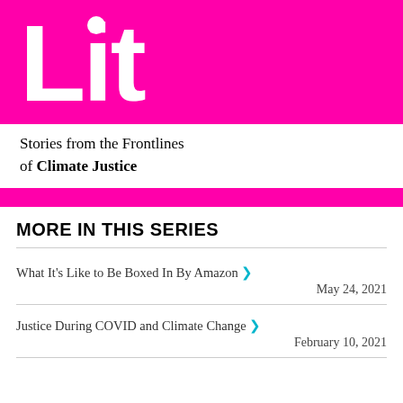[Figure (logo): Lit logo in white bold text on magenta/pink background with subtitle 'Stories from the Frontlines of Climate Justice']
MORE IN THIS SERIES
What It's Like to Be Boxed In By Amazon › May 24, 2021
Justice During COVID and Climate Change › February 10, 2021